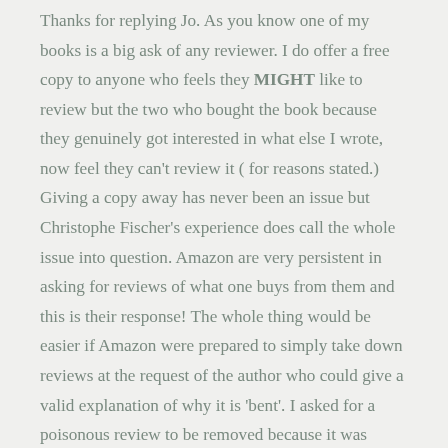Thanks for replying Jo. As you know one of my books is a big ask of any reviewer. I do offer a free copy to anyone who feels they MIGHT like to review but the two who bought the book because they genuinely got interested in what else I wrote, now feel they can't review it ( for reasons stated.) Giving a copy away has never been an issue but Christophe Fischer's experience does call the whole issue into question. Amazon are very persistent in asking for reviews of what one buys from them and this is their response! The whole thing would be easier if Amazon were prepared to simply take down reviews at the request of the author who could give a valid explanation of why it is 'bent'. I asked for a poisonous review to be removed because it was clearly contradictory, slated verbally but awarded four stars by a man who had nominated as shortlisted for his own prize!